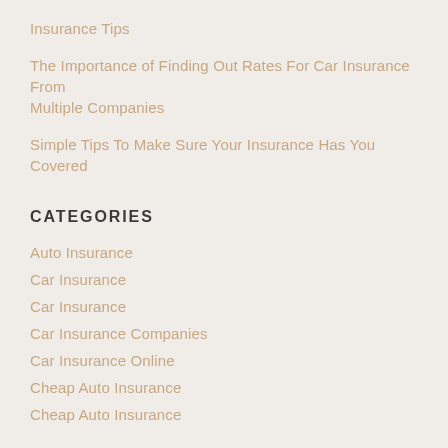Insurance Tips
The Importance of Finding Out Rates For Car Insurance From Multiple Companies
Simple Tips To Make Sure Your Insurance Has You Covered
CATEGORIES
Auto Insurance
Car Insurance
Car Insurance
Car Insurance Companies
Car Insurance Online
Cheap Auto Insurance
Cheap Auto Insurance